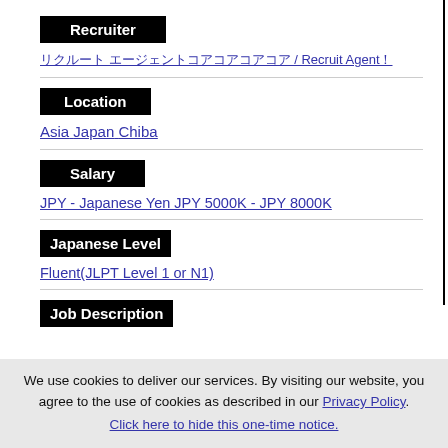Recruiter
リクルートエージェント / Recruit Agent！
Location
Asia Japan Chiba
Salary
JPY - Japanese Yen JPY 5000K - JPY 8000K
Japanese Level
Fluent(JLPT Level 1 or N1)
Job Description
We use cookies to deliver our services. By visiting our website, you agree to the use of cookies as described in our Privacy Policy. Click here to hide this one-time notice.